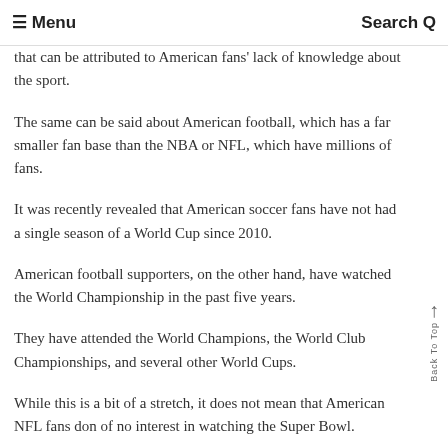≡ Menu   Search Q
that can be attributed to American fans' lack of knowledge about the sport.
The same can be said about American football, which has a far smaller fan base than the NBA or NFL, which have millions of fans.
It was recently revealed that American soccer fans have not had a single season of a World Cup since 2010.
American football supporters, on the other hand, have watched the World Championship in the past five years.
They have attended the World Champions, the World Club Championships, and several other World Cups.
While this is a bit of a stretch, it does not mean that American NFL fans don of no interest in watching the Super Bowl.